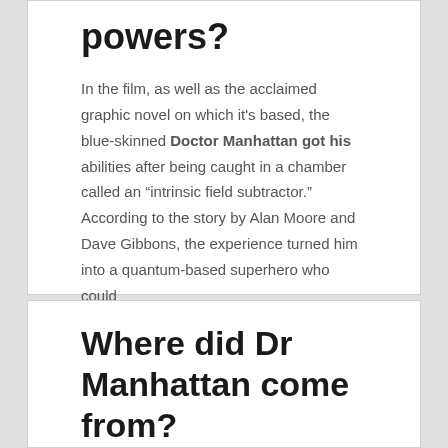powers?
In the film, as well as the acclaimed graphic novel on which it's based, the blue-skinned Doctor Manhattan got his abilities after being caught in a chamber called an “intrinsic field subtractor.” According to the story by Alan Moore and Dave Gibbons, the experience turned him into a quantum-based superhero who could
Where did Dr Manhattan come from?
Earth